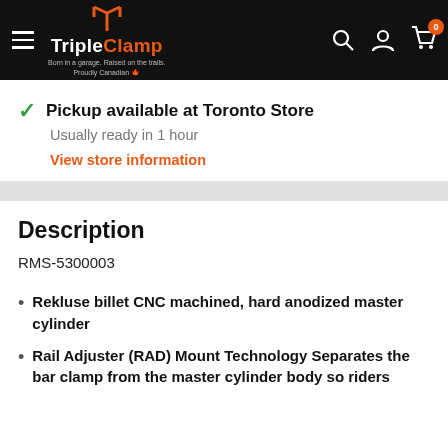TripleClamp — Born in a garage. Raised on the trails. Proudly Canadian
Pickup available at Toronto Store
Usually ready in 1 hour
View store information
Description
RMS-5300003
Rekluse billet CNC machined, hard anodized master cylinder
Rail Adjuster (RAD) Mount Technology Separates the bar clamp from the master cylinder body so riders